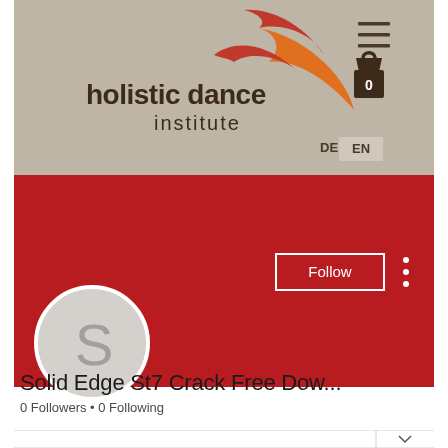[Figure (screenshot): Website header of Holistic Dance Institute with beige/tan background, logo with red and orange swoosh design, hamburger menu icon, shopping bag icon with 0, and language switcher DE/EN]
[Figure (screenshot): Red banner section with Follow button (white border) and three-dot menu on right side]
[Figure (screenshot): Circular avatar with letter S on light gray background]
Solid Edge St7 Crack Free Dow...
0 Followers • 0 Following
[Figure (screenshot): Bottom navigation bar with chevron/dropdown arrow on right side]